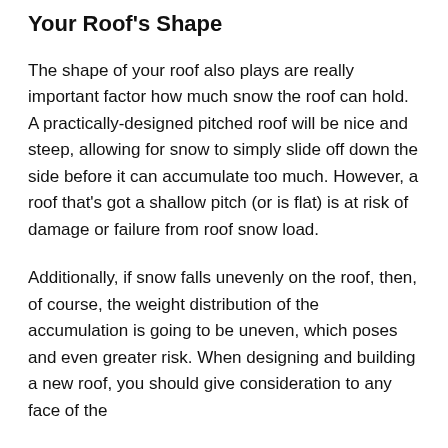Your Roof's Shape
The shape of your roof also plays are really important factor how much snow the roof can hold. A practically-designed pitched roof will be nice and steep, allowing for snow to simply slide off down the side before it can accumulate too much. However, a roof that's got a shallow pitch (or is flat) is at risk of damage or failure from roof snow load.
Additionally, if snow falls unevenly on the roof, then, of course, the weight distribution of the accumulation is going to be uneven, which poses and even greater risk. When designing and building a new roof, you should give consideration to any face of the